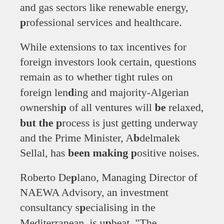and gas sectors like renewable energy, professional services and healthcare.
While extensions to tax incentives for foreign investors look certain, questions remain as to whether tight rules on foreign lending and majority-Algerian ownership of all ventures will be relaxed, but the process is just getting underway and the Prime Minister, Abdelmalek Sellal, has been making positive noises.
Roberto Deplano, Managing Director of NAEWA Advisory, an investment consultancy specialising in the Mediterranean, is upbeat. "The government feels enough pressure to act but not so much to do so in a hurry and at any cost. This is the right moment for Algeria, not in spite of the oil crisis, but thanks to it."
Rachid Sekak, an economist who played a